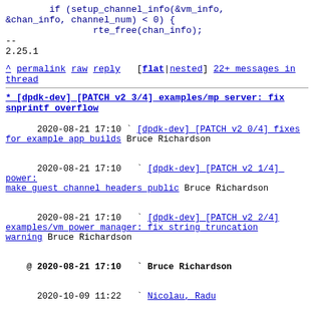if (setup_channel_info(&vm_info, &chan_info, channel_num) < 0) {
        rte_free(chan_info);
--
2.25.1
^ permalink raw reply [flat|nested] 22+ messages in thread
* [dpdk-dev] [PATCH v2 3/4] examples/mp server: fix snprintf overflow
2020-08-21 17:10  ` [dpdk-dev] [PATCH v2 0/4] fixes for example app builds Bruce Richardson
2020-08-21 17:10    ` [dpdk-dev] [PATCH v2 1/4] power: make guest channel headers public Bruce Richardson
2020-08-21 17:10    ` [dpdk-dev] [PATCH v2 2/4] examples/vm power manager: fix string truncation warning Bruce Richardson
@ 2020-08-21 17:10    ` Bruce Richardson
2020-10-09 11:22      ` Nicolau, Radu
2020-08-21 17:10    ` [dpdk-dev] [PATCH v2 4/4] examples/mp server: clear string truncation warning Bruce Richardson
3 siblings, 1 reply; 22+ messages in thread
From: Bruce Richardson @ 2020-08-21 17:10 UTC (permalink / raw)
To: dev; +Cc: Bruce Richardson, stable, Stephen Hemminger, Anatoly Burakov